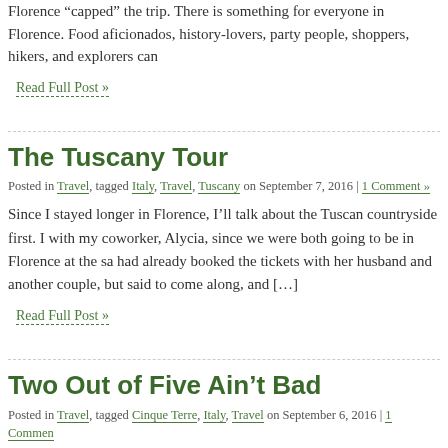Florence “capped” the trip. There is something for everyone in Florence. Food aficionados, history-lovers, party people, shoppers, hikers, and explorers can
Read Full Post »
The Tuscany Tour
Posted in Travel, tagged Italy, Travel, Tuscany on September 7, 2016 | 1 Comment »
Since I stayed longer in Florence, I’ll talk about the Tuscan countryside first. I with my coworker, Alycia, since we were both going to be in Florence at the sa had already booked the tickets with her husband and another couple, but said to come along, and […]
Read Full Post »
Two Out of Five Ain’t Bad
Posted in Travel, tagged Cinque Terre, Italy, Travel on September 6, 2016 | 1 Commen